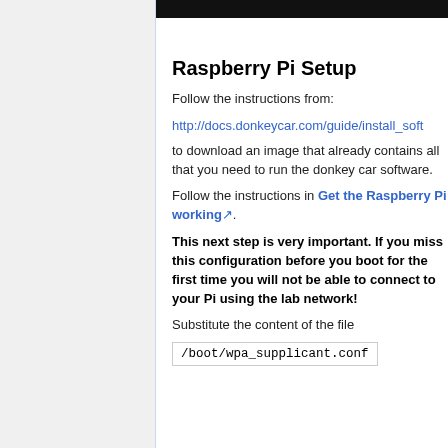Raspberry Pi Setup
Follow the instructions from:
http://docs.donkeycar.com/guide/install_soft
to download an image that already contains all that you need to run the donkey car software.
Follow the instructions in Get the Raspberry Pi working.
This next step is very important. If you miss this configuration before you boot for the first time you will not be able to connect to your Pi using the lab network!
Substitute the content of the file /boot/wpa_supplicant.conf